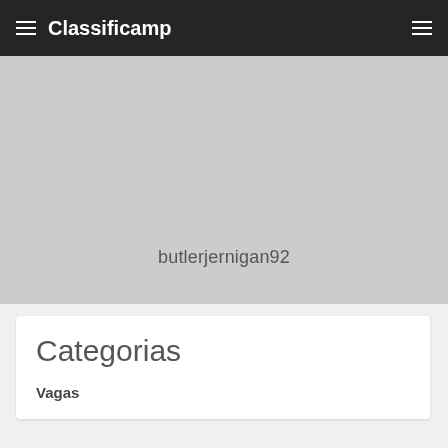Classificamp
[Figure (screenshot): Grey banner area with username 'butlerjernigan92' centered near the bottom]
butlerjernigan92
Categorias
Vagas